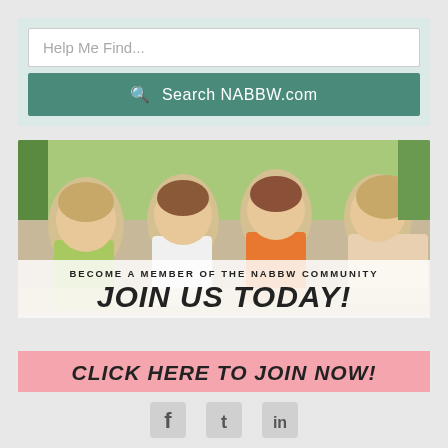Help Me Find...
Search NABBW.com
[Figure (photo): Group of women smiling and socializing outdoors at a table with overlay text reading 'BECOME A MEMBER OF THE NABBW COMMUNITY' and 'JOIN US TODAY!' and a pink bar at the bottom reading 'CLICK HERE TO JOIN NOW!']
[Figure (illustration): Social media icons: Facebook, Twitter, LinkedIn]